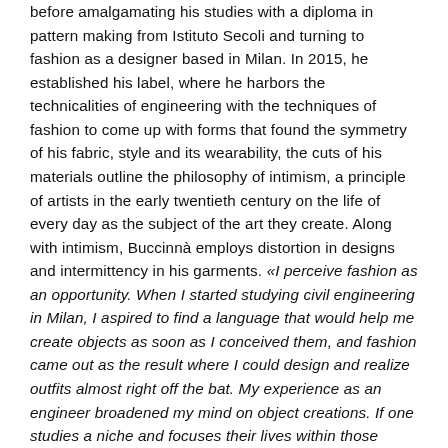before amalgamating his studies with a diploma in pattern making from Istituto Secoli and turning to fashion as a designer based in Milan. In 2015, he established his label, where he harbors the technicalities of engineering with the techniques of fashion to come up with forms that found the symmetry of his fabric, style and its wearability, the cuts of his materials outline the philosophy of intimism, a principle of artists in the early twentieth century on the life of every day as the subject of the art they create. Along with intimism, Buccinnà employs distortion in designs and intermittency in his garments. «I perceive fashion as an opportunity. When I started studying civil engineering in Milan, I aspired to find a language that would help me create objects as soon as I conceived them, and fashion came out as the result where I could design and realize outfits almost right off the bat. My experience as an engineer broadened my mind on object creations. If one studies a niche and focuses their lives within those boundaries, their vision narrows, while if they start from the contrast of what they will be practicing, the insight expands and they may work in a space founded in multiplicity of studies. As a civil engineer and a fashion designer, I combined both and they have become my...